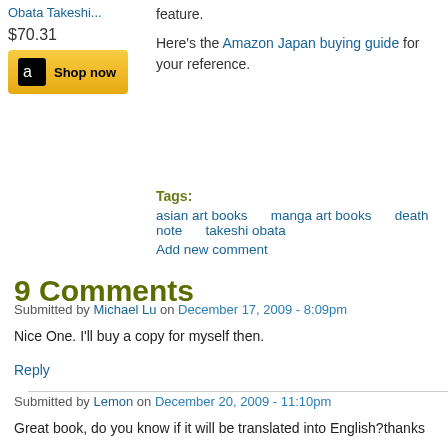Obata Takeshi...
$70.31
[Figure (other): Amazon Shop now button with Amazon logo]
feature.
Here's the Amazon Japan buying guide for your reference.
Tags:
asian art books
manga art books
death note
takeshi obata
Add new comment
9 Comments
Submitted by Michael Lu on December 17, 2009 - 8:09pm
Nice One. I'll buy a copy for myself then.
Reply
Submitted by Lemon on December 20, 2009 - 11:10pm
Great book, do you know if it will be translated into English?thanks
Reply